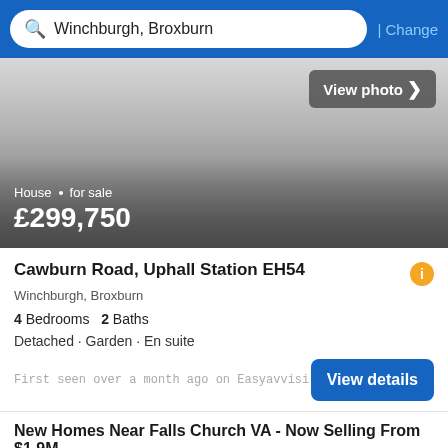Winchburgh, Broxburn  | Change
[Figure (photo): Property photo area with grey gradient overlay showing house for sale at £299,750]
House · for sale
£299,750
Cawburn Road, Uphall Station EH54
Winchburgh, Broxburn
4 Bedrooms  2 Baths
Detached · Garden · En suite
First seen over a month ago on Easyavvisi
New Homes Near Falls Church VA - Now Selling From $1.9M
Ad  https://www.aylenoverlook...
Filter
Visit